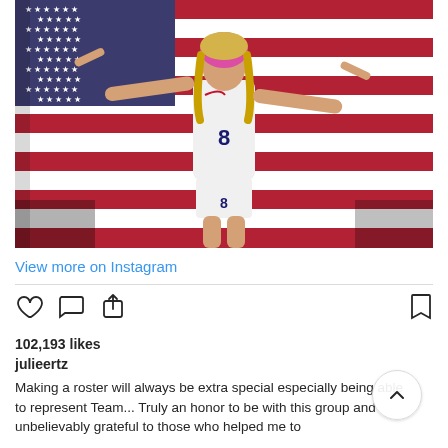[Figure (photo): Female soccer player wearing US national team jersey number 8, arms outstretched, holding an American flag behind her, celebrating]
View more on Instagram
102,193 likes
julieertz
Making a roster will always be extra special especially being able to represent Team... Truly an honor to be with this group and unbelievably grateful to those who helped me to